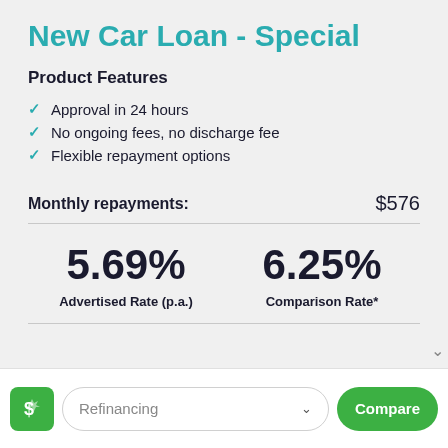New Car Loan - Special
Product Features
Approval in 24 hours
No ongoing fees, no discharge fee
Flexible repayment options
Monthly repayments: $576
5.69% Advertised Rate (p.a.)
6.25% Comparison Rate*